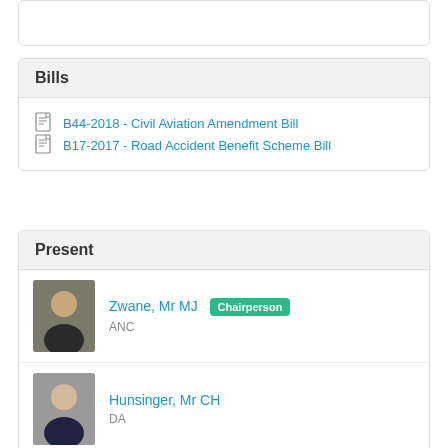Bills
B44-2018 - Civil Aviation Amendment Bill
B17-2017 - Road Accident Benefit Scheme Bill
Present
Zwane, Mr MJ — Chairperson — ANC
Hunsinger, Mr CH — DA
Mabhena, Mr TB